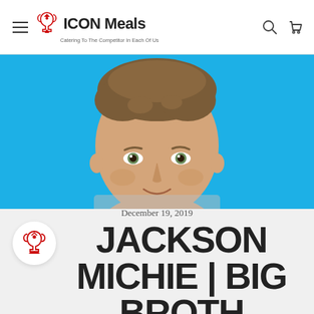ICON Meals — Catering To The Competitor In Each Of Us
[Figure (photo): Close-up portrait photo of a young man with short brown hair against a bright blue background, cropped to show face and top of shoulders.]
December 19, 2019
JACKSON MICHIE | BIG BROTHER